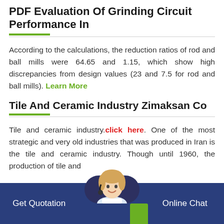PDF Evaluation Of Grinding Circuit Performance In
According to the calculations, the reduction ratios of rod and ball mills were 64.65 and 1.15, which show high discrepancies from design values (23 and 7.5 for rod and ball mills). Learn More
Tile And Ceramic Industry Zimaksan Co
Tile and ceramic industry.click here. One of the most strategic and very old industries that was produced in Iran is the tile and ceramic industry. Though until 1960, the production of tile and
Get Quotation    Online Chat